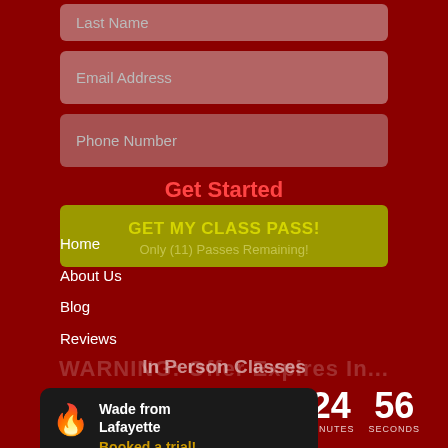[Figure (screenshot): Screenshot of a martial arts gym website registration form with navigation menu overlay, class pass button, countdown timer, and notification popup]
Last Name
Email Address
Phone Number
Get Started
GET MY CLASS PASS!
Only (11) Passes Remaining!
Home
About Us
Blog
Reviews
WARNING: Offer Expires In...
In Person Classes
Preschool Jiu Jitsu (Ages 3-5) in Scott
24 MINUTES  56 SECONDS
Wade from Lafayette
Booked a trial!
7 months ago
Women's BJJ & Self-Defense in Scott